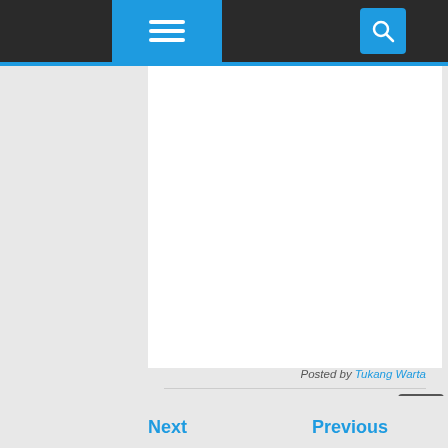Navigation bar with menu and search
[Figure (screenshot): Blank white article content area]
Posted by Tukang Warta
Share to: [Facebook] [Twitter] [Pinterest] [+] 0 [email forward]
Next    Previous